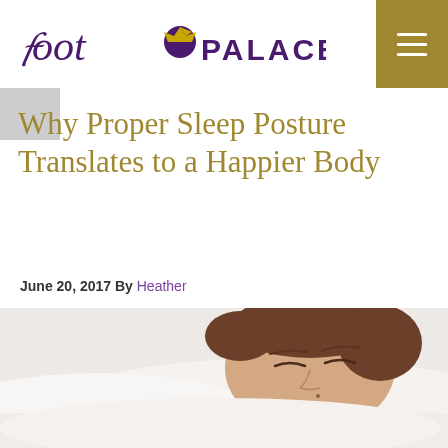Foot Palace
Why Proper Sleep Posture Translates to a Happier Body
June 20, 2017 By Heather
[Figure (photo): Man sleeping on white pillow with eyes closed, white bedding, closeup of face]